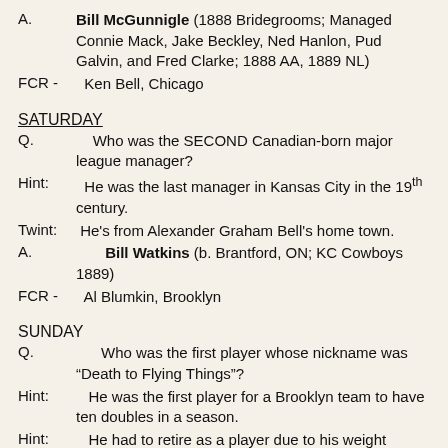A.   Bill McGunnigle (1888 Bridegrooms; Managed Connie Mack, Jake Beckley, Ned Hanlon, Pud Galvin, and Fred Clarke; 1888 AA, 1889 NL)
FCR -   Ken Bell, Chicago
SATURDAY
Q.   Who was the SECOND Canadian-born major league manager?
Hint:   He was the last manager in Kansas City in the 19th century.
Twint:  He's from Alexander Graham Bell's home town.
A.   Bill Watkins (b. Brantford, ON; KC Cowboys 1889)
FCR -   Al Blumkin, Brooklyn
SUNDAY
Q.   Who was the first player whose nickname was "Death to Flying Things"?
Hint:   He was the first player for a Brooklyn team to have ten doubles in a season.
Hint:   He had to retire as a player due to his weight problem.
Twint:  A team he managed had players suspended for